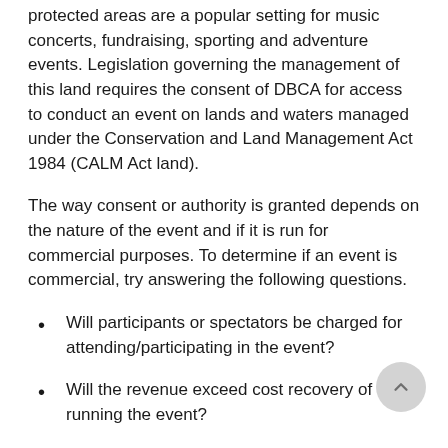protected areas are a popular setting for music concerts, fundraising, sporting and adventure events. Legislation governing the management of this land requires the consent of DBCA for access to conduct an event on lands and waters managed under the Conservation and Land Management Act 1984 (CALM Act land).
The way consent or authority is granted depends on the nature of the event and if it is run for commercial purposes. To determine if an event is commercial, try answering the following questions.
Will participants or spectators be charged for attending/participating in the event?
Will the revenue exceed cost recovery of running the event?
Will there be profits collected for charity, fundraising or a not-for-profit organisation?